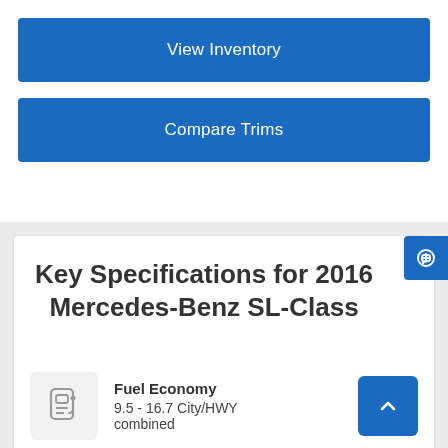View Inventory
Compare Trims
Key Specifications for 2016 Mercedes-Benz SL-Class
Fuel Economy
9.5 - 16.7 City/HWY combined